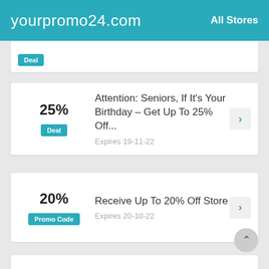yourpromo24.com   All Stores
25% Deal — Attention: Seniors, If It's Your Birthday – Get Up To 25% Off... Expires 19-11-22
20% Promo Code — Receive Up To 20% Off Store Expires 20-10-22
$3 Promo Code — Exclusive $3.00 Off Orders Expires 19-11-22